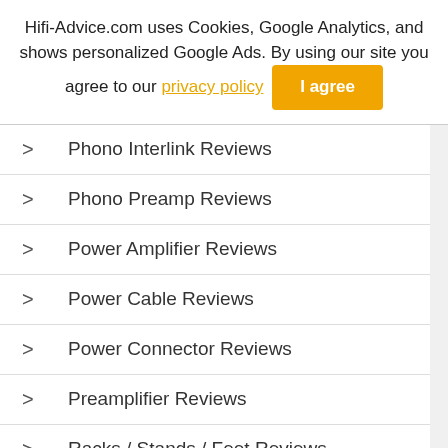Hifi-Advice.com uses Cookies, Google Analytics, and shows personalized Google Ads. By using our site you agree to our privacy policy  I agree
> Phono Interlink Reviews
> Phono Preamp Reviews
> Power Amplifier Reviews
> Power Cable Reviews
> Power Connector Reviews
> Preamplifier Reviews
> Racks / Stands / Feet Reviews